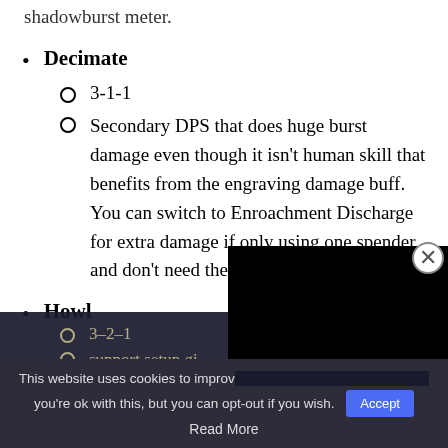shadowburst meter.
Decimate
3-1-1
Secondary DPS that does huge burst damage even though it isn't human skill that benefits from the engraving damage buff. You can switch to Enroachment Discharge for extra damage if only using one spender and don't need the e[xtra shadow generation]
Howl
3–2–1
[Support setup gi...] skill that [boosts] your parties damage
This website uses cookies to improv[e your experience. We'll assume] you're ok with this, but you can opt-out if you wish. Accept
Read More